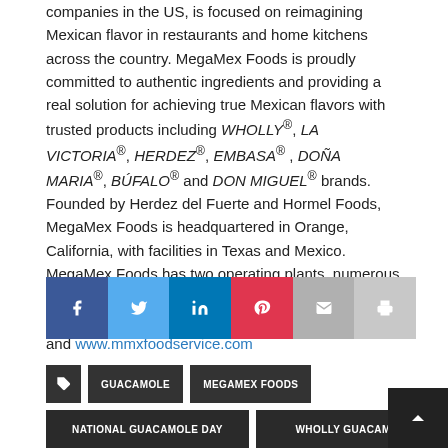companies in the US, is focused on reimagining Mexican flavor in restaurants and home kitchens across the country. MegaMex Foods is proudly committed to authentic ingredients and providing a real solution for achieving true Mexican flavors with trusted products including WHOLLY®, LA VICTORIA®, HERDEZ®, EMBASA®, DOÑA MARIA®, BÚFALO® and DON MIGUEL® brands. Founded by Herdez del Fuerte and Hormel Foods, MegaMex Foods is headquartered in Orange, California, with facilities in Texas and Mexico. MegaMex Foods has two operating plants, numerous manufacturing partners and over 4,000 employees. For more information, visit www.megamexfoods.com and www.mmxfoodservice.com
[Figure (infographic): Social sharing bar with icons: Facebook (blue), Twitter (light blue), LinkedIn (dark blue), Pinterest (red), Email (gray), Print (light gray)]
GUACAMOLE
MEGAMEX FOODS
NATIONAL GUACAMOLE DAY
WHOLLY GUACAMOLE